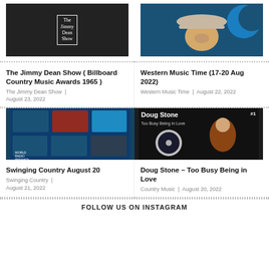[Figure (photo): Black and white photo from The Jimmy Dean Show with performers on stage]
The Jimmy Dean Show ( Billboard Country Music Awards 1965 )
The Jimmy Dean Show | August 23, 2022
[Figure (illustration): Cartoon illustration of a Western man with white hat against blue background — Western Music Time]
Western Music Time (17-20 Aug 2022)
Western Music Time | August 22, 2022
[Figure (screenshot): Collage/screenshot of a radio website or media page with blue background and many images]
Swinging Country August 20
Swinging Country | August 21, 2022
[Figure (photo): Photo of Doug Stone with vinyl record cover — Too Busy Being in Love]
Doug Stone – Too Busy Being in Love
Country Music | August 20, 2022
FOLLOW US ON INSTAGRAM